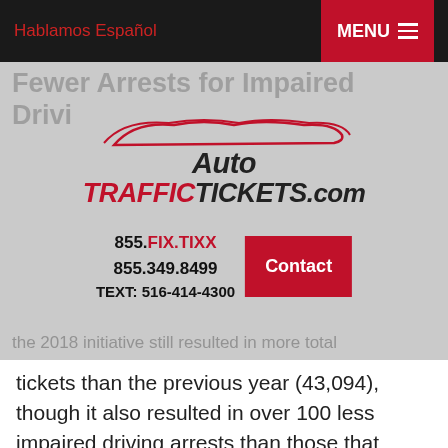Hablamos Español
MENU
Fewer Arrests for Impaired Driving
[Figure (logo): AutoTrafficTickets.com logo with red car silhouette and stylized text]
855.FIX.TIXX
855.349.8499
TEXT: 516-414-4300
Contact
the 2018 initiative still resulted in more total tickets than the previous year (43,094), though it also resulted in over 100 less impaired driving arrests than those that occurred in 2017 (667). In addition to arrests and ticketing for impaired driving, State Police were also responsible for looking into 643 personal injury crashes, which led to